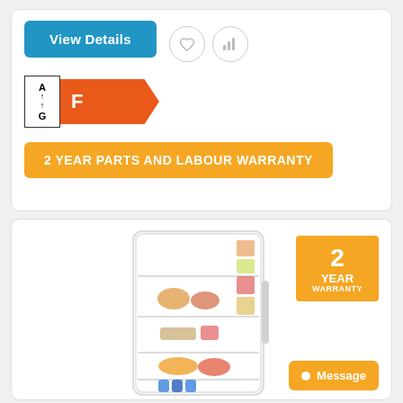[Figure (screenshot): View Details button with heart and bar chart icon circles]
[Figure (infographic): Energy efficiency label showing rating F on a scale A to G]
2 YEAR PARTS AND LABOUR WARRANTY
[Figure (photo): Liebherr refrigerator open showing shelves with food items]
[Figure (infographic): 2 YEAR WARRANTY orange badge]
Message